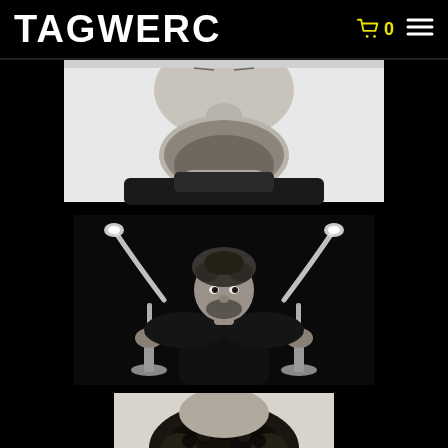TAGWERC
[Figure (photo): Black and white close-up photo of a bearded man's face from nose down, wearing a dark turtleneck, shown from below chin angle against white background]
[Figure (photo): Black and white photo of a young man with curly hair holding two metallic horn-shaped lamp objects (Anta-style lamps with curved chrome horns), posed dramatically against black background]
[Figure (photo): Black and white photo showing top of a person's curly hair, partially cropped at bottom of page]